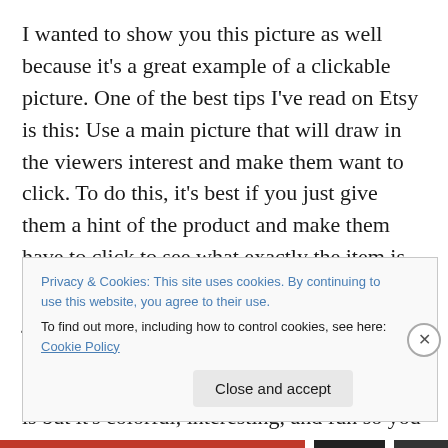I wanted to show you this picture as well because it's a great example of a clickable picture. One of the best tips I've read on Etsy is this: Use a main picture that will draw in the viewers interest and make them want to click. To do this, it's best if you just give them a hint of the product and make them have to click to see what exactly the item is. Have the picture at a weird angle, show them just a piece of it to get them curious. That's exactly what Lusummers did here. From this picture, you don't really know what the item is but it's colorful, interesting, and fun so you want to
Privacy & Cookies: This site uses cookies. By continuing to use this website, you agree to their use.
To find out more, including how to control cookies, see here: Cookie Policy